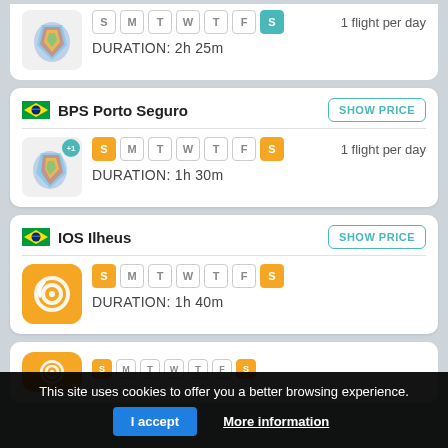MCZ Maceio — SHOW PRICE (partial top card)
[Figure (illustration): Brazil map colorful illustration with puzzle-piece regions]
S M T W T F S — 1 flight per day
DURATION: 2h 25m
BPS Porto Seguro — SHOW PRICE
[Figure (illustration): Brazil map colorful illustration with +1 badge]
S M T W T F S — 1 flight per day
DURATION: 1h 30m
IOS Ilheus — SHOW PRICE
[Figure (logo): Orange rounded square logo with white circular swirl icon]
S M T W T F S
DURATION: 1h 40m
This site uses cookies to offer you a better browsing experience.
I accept
More information